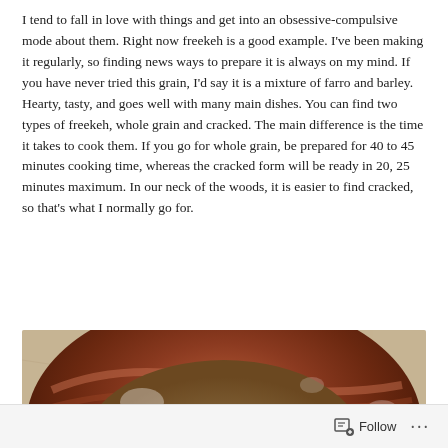I tend to fall in love with things and get into an obsessive-compulsive mode about them. Right now freekeh is a good example. I've been making it regularly, so finding news ways to prepare it is always on my mind. If you have never tried this grain, I'd say it is a mixture of farro and barley. Hearty, tasty, and goes well with many main dishes. You can find two types of freekeh, whole grain and cracked. The main difference is the time it takes to cook them. If you go for whole grain, be prepared for 40 to 45 minutes cooking time, whereas the cracked form will be ready in 20, 25 minutes maximum. In our neck of the woods, it is easier to find cracked, so that's what I normally go for.
[Figure (photo): A decorative ceramic bowl with swirling brown, teal, and multicolor glaze patterns containing cooked freekeh grain with dark green herbs on a granite countertop background.]